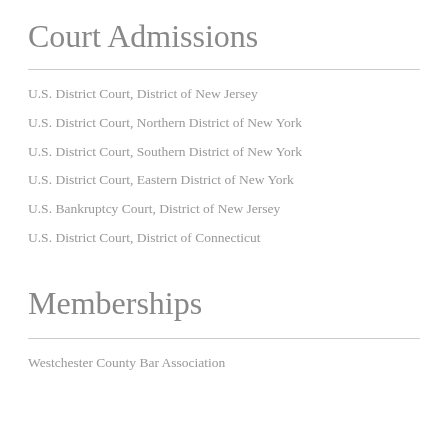Court Admissions
U.S. District Court, District of New Jersey
U.S. District Court, Northern District of New York
U.S. District Court, Southern District of New York
U.S. District Court, Eastern District of New York
U.S. Bankruptcy Court, District of New Jersey
U.S. District Court, District of Connecticut
Memberships
Westchester County Bar Association